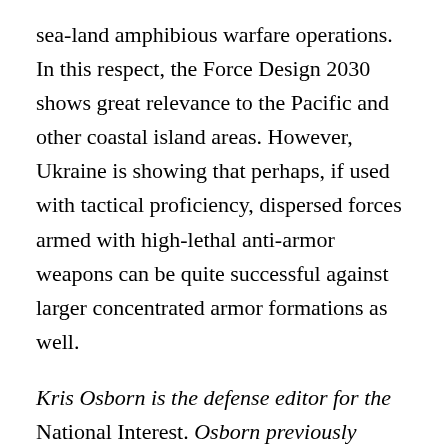sea-land amphibious warfare operations. In this respect, the Force Design 2030 shows great relevance to the Pacific and other coastal island areas. However, Ukraine is showing that perhaps, if used with tactical proficiency, dispersed forces armed with high-lethal anti-armor weapons can be quite successful against larger concentrated armor formations as well.
Kris Osborn is the defense editor for the National Interest. Osborn previously served at the Pentagon as a Highly Qualified Expert with the Office of the Assistant Secretary of the Army—Acquisition, Logistics & Technology. Osborn has also worked as an anchor and on-air military